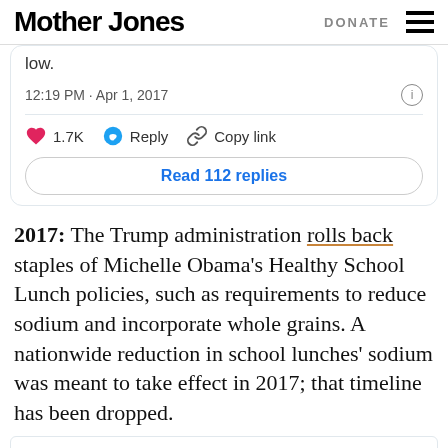Mother Jones | DONATE
low.
12:19 PM · Apr 1, 2017
1.7K  Reply  Copy link
Read 112 replies
2017: The Trump administration rolls back staples of Michelle Obama's Healthy School Lunch policies, such as requirements to reduce sodium and incorporate whole grains. A nationwide reduction in school lunches' sodium was meant to take effect in 2017; that timeline has been dropped.
FACT:
Today, reader support makes up about two